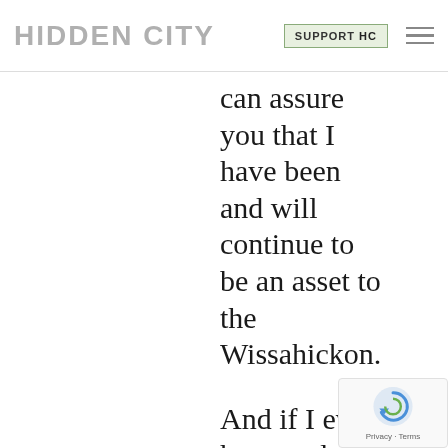HIDDEN CITY | SUPPORT HC
can assure you that I have been and will continue to be an asset to the Wissahickon.

And if I ever have and a dog who I feel
[Figure (other): Google reCAPTCHA badge overlay in bottom-right corner]